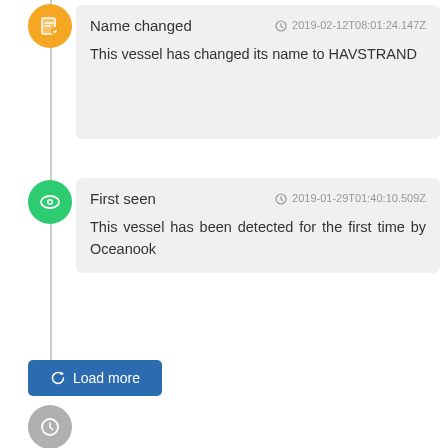Name changed  2019-02-12T08:01:24.147Z
This vessel has changed its name to HAVSTRAND
First seen  2019-01-29T01:40:10.509Z
This vessel has been detected for the first time by Oceanook
Load more